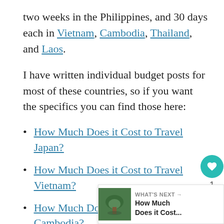two weeks in the Philippines, and 30 days each in Vietnam, Cambodia, Thailand, and Laos.
I have written individual budget posts for most of these countries, so if you want the specifics you can find those here:
How Much Does it Cost to Travel Japan?
How Much Does it Cost to Travel Vietnam?
How Much Does it Cost to Travel Cambodia?
How Much Does it Cost to Travel